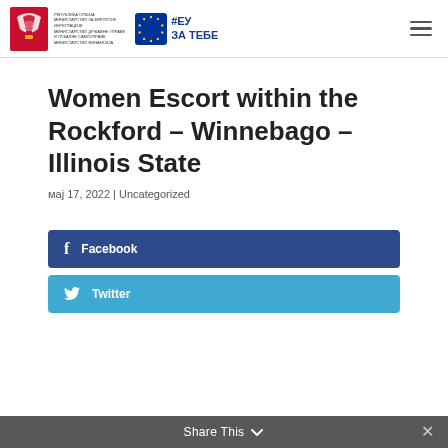Serbian Government / EU Za Tebe logo header
Women Escort within the Rockford – Winnebago – Illinois State
мај 17, 2022 | Uncategorized
Facebook
Twitter
Share This